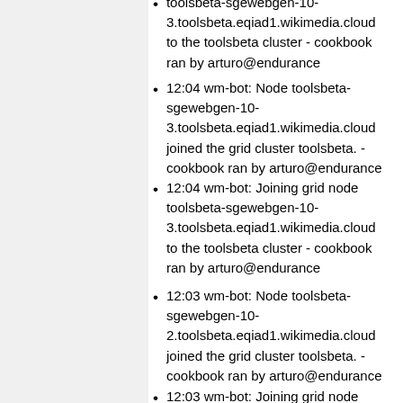toolsbeta-sgewebgen-10-3.toolsbeta.eqiad1.wikimedia.cloud to the toolsbeta cluster - cookbook ran by arturo@endurance
12:04 wm-bot: Node toolsbeta-sgewebgen-10-3.toolsbeta.eqiad1.wikimedia.cloud joined the grid cluster toolsbeta. - cookbook ran by arturo@endurance
12:04 wm-bot: Joining grid node toolsbeta-sgewebgen-10-3.toolsbeta.eqiad1.wikimedia.cloud to the toolsbeta cluster - cookbook ran by arturo@endurance
12:03 wm-bot: Node toolsbeta-sgewebgen-10-2.toolsbeta.eqiad1.wikimedia.cloud joined the grid cluster toolsbeta. - cookbook ran by arturo@endurance
12:03 wm-bot: Joining grid node